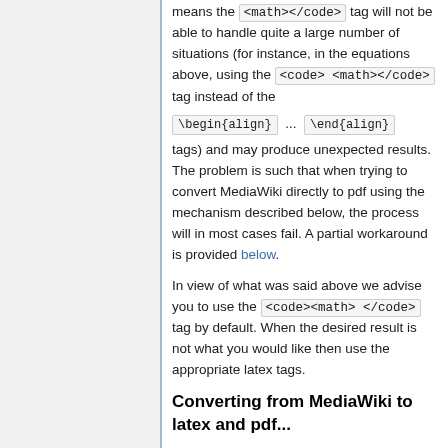...tag still handles, this means the <math> tag will not be able to handle quite a large number of situations (for instance, in the equations above, using the <math> tag instead of the \begin{align} ... \end{align} tags) and may produce unexpected results. The problem is such that when trying to convert MediaWiki directly to pdf using the mechanism described below, the process will in most cases fail. A partial workaround is provided below.
In view of what was said above we advise you to use the <code><math></code> tag by default. When the desired result is not what you would like then use the appropriate latex tags.
Converting from MediaWiki to latex and pdf...